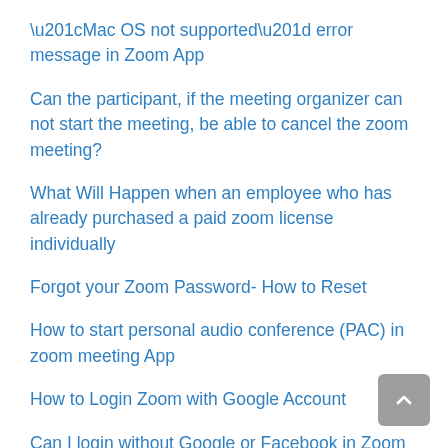“Mac OS not supported” error message in Zoom App
Can the participant, if the meeting organizer can not start the meeting, be able to cancel the zoom meeting?
What Will Happen when an employee who has already purchased a paid zoom license individually
Forgot your Zoom Password- How to Reset
How to start personal audio conference (PAC) in zoom meeting App
How to Login Zoom with Google Account
Can I login without Google or Facebook in Zoom App?